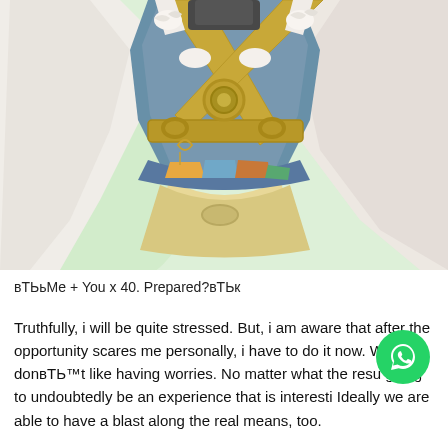[Figure (illustration): Anime-style illustration showing the torso and lower body of a fantasy character wearing elaborate armor with a dark blue/teal tabard, golden cross-strap harness with circular buckles, white fur trim accents, and flowing cream/white robes or skirt. The background is a soft light green.]
вТЬьМе + You x 40. Prepared?вТЬк
Truthfully, i will be quite stressed. But, i am aware that after the opportunity scares me personally, i have to do it now. We donвТЬ™t like having worries. No matter what the resu going to undoubtedly be an experience that is interesti Ideally we are able to have a blast along the real means, too.